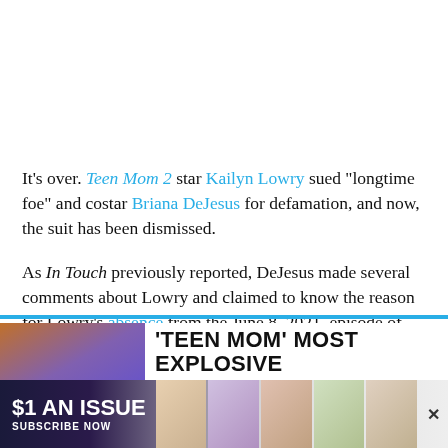It's over. Teen Mom 2 star Kailyn Lowry sued "longtime foe" and costar Briana DeJesus for defamation, and now, the suit has been dismissed.
As In Touch previously reported, DeJesus made several comments about Lowry and claimed to know the reason for Lowry's absence from the June 8, 2021, episode of Teen Mom 2.
[Figure (photo): Promotional image for Teen Mom Most Explosive Moments article with show thumbnail]
'TEEN MOM' MOST EXPLOSIVE MOMENTS: RELIVE THE...
[Figure (infographic): Advertisement banner: $1 AN ISSUE, SUBSCRIBE NOW with magazine cover images]